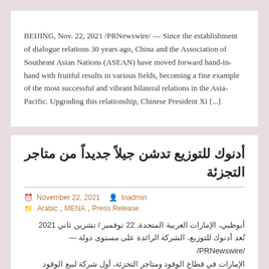BEIJING, Nov. 22, 2021 /PRNewswire/ — Since the establishment of dialogue relations 30 years ago, China and the Association of Southeast Asian Nations (ASEAN) have moved forward hand-in-hand with fruitful results in various fields, becoming a fine example of the most successful and vibrant bilateral relations in the Asia-Pacific. Upgrading this relationship, Chinese President Xi [...]
أدنوك للتوزيع تدشن جيلاً جديداً من متاجر التجزئة
November 22, 2021   Inadmin
Arabic, MENA, Press Release
أبوظبي، الإمارات العربية المتحدة, 22 نوفمبر / تشرين ثاني 2021 تُعد أدنوك للتوزيع، الشركة الرائدة على مستوى دولة — /PRNewswire/ الإمارات في قطاع الوقود ومتاجر التجزئة، أول شركة لبيع الوقود بالتجزئة على مستوى الشرق الأوسط تطلق الجيل الجديد من تقنيات التسوق العصرية المتمثلة [...] في متجر واحة أدنوك ذاتي التحكم بالكامل الذي يتم فيه الدفع دون تلامس